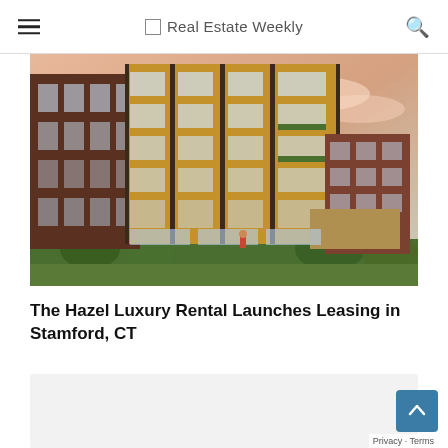Real Estate Weekly
[Figure (photo): Exterior rendering of The Hazel, a multi-story luxury apartment building with brick facade, large windows, and balconies with greenery, photographed against a pinkish-orange sky.]
The Hazel Luxury Rental Launches Leasing in Stamford, CT